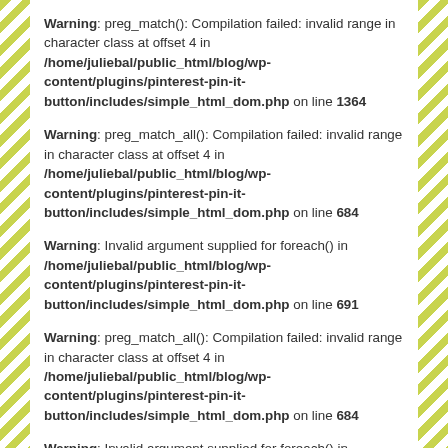Warning: preg_match(): Compilation failed: invalid range in character class at offset 4 in /home/juliebal/public_html/blog/wp-content/plugins/pinterest-pin-it-button/includes/simple_html_dom.php on line 1364
Warning: preg_match_all(): Compilation failed: invalid range in character class at offset 4 in /home/juliebal/public_html/blog/wp-content/plugins/pinterest-pin-it-button/includes/simple_html_dom.php on line 684
Warning: Invalid argument supplied for foreach() in /home/juliebal/public_html/blog/wp-content/plugins/pinterest-pin-it-button/includes/simple_html_dom.php on line 691
Warning: preg_match_all(): Compilation failed: invalid range in character class at offset 4 in /home/juliebal/public_html/blog/wp-content/plugins/pinterest-pin-it-button/includes/simple_html_dom.php on line 684
Warning: Invalid argument supplied for foreach() in /home/juliebal/public_html/blog/wp-content/plugins/pinterest-pin-it-button/includes/simple_html_dom.php on line 691